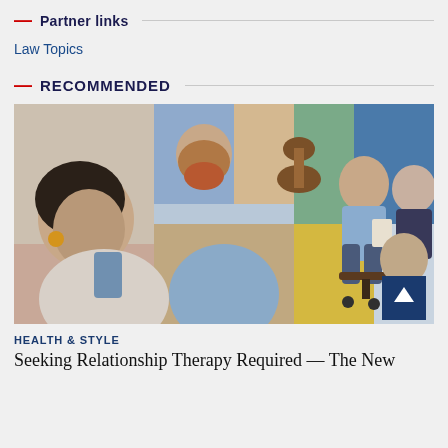— Partner links
Law Topics
— RECOMMENDED
[Figure (illustration): An illustration showing multiple people engaged in various activities: a woman looking at a phone, a bearded man drinking, someone playing guitar, a man sitting reading, a person at a desk, and others. Colorful collage-style artwork.]
HEALTH & STYLE
Seeking Relationship Therapy Required — The New